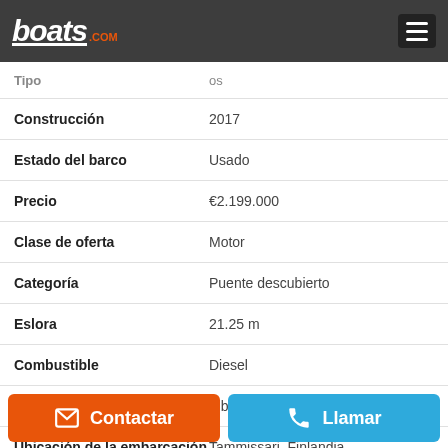boats.com
| Campo | Valor |
| --- | --- |
| Tipo | os |
| Construcción | 2017 |
| Estado del barco | Usado |
| Precio | €2.199.000 |
| Clase de oferta | Motor |
| Categoría | Puente descubierto |
| Eslora | 21.25 m |
| Combustible | Diesel |
| Material del casco | Fibra de vidrio |
| Ubicación de la embarcación | Tammissari, Finlandia |
| Estado de Impuestos | Impuestos no pagados |
Contactar
Llamar